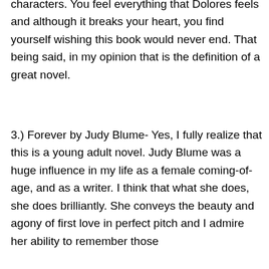characters. You feel everything that Dolores feels and although it breaks your heart, you find yourself wishing this book would never end. That being said, in my opinion that is the definition of a great novel.
3.) Forever by Judy Blume- Yes, I fully realize that this is a young adult novel. Judy Blume was a huge influence in my life as a female coming-of-age, and as a writer. I think that what she does, she does brilliantly. She conveys the beauty and agony of first love in perfect pitch and I admire her ability to remember those